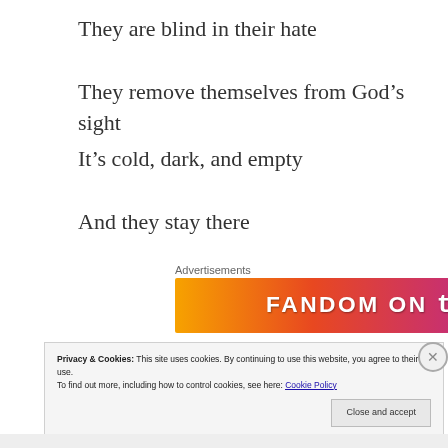They are blind in their hate
They remove themselves from God’s sight
It’s cold, dark, and empty
And they stay there
[Figure (other): Fandom on Tumblr advertisement banner with orange-to-purple gradient background and white text]
So why give us a choice? If God is omnibenevolent, why not make us incapable?
Privacy & Cookies: This site uses cookies. By continuing to use this website, you agree to their use.
To find out more, including how to control cookies, see here: Cookie Policy